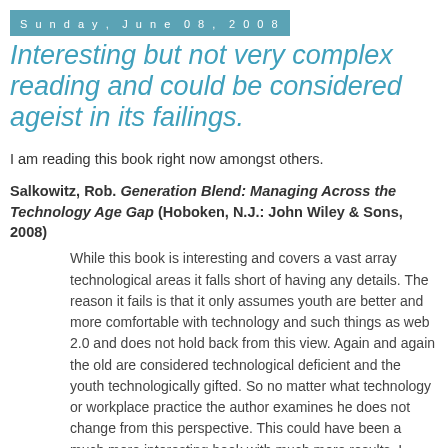Sunday, June 08, 2008
Interesting but not very complex reading and could be considered ageist in its failings.
I am reading this book right now amongst others.
Salkowitz, Rob. Generation Blend: Managing Across the Technology Age Gap (Hoboken, N.J.: John Wiley & Sons, 2008)
While this book is interesting and covers a vast array technological areas it falls short of having any details. The reason it fails is that it only assumes youth are better and more comfortable with technology and such things as web 2.0 and does not hold back from this view. Again and again the old are considered technological deficient and the youth technologically gifted. So no matter what technology or workplace practice the author examines he does not change from this perspective. This could have been a much more interesting book with much more results. I would